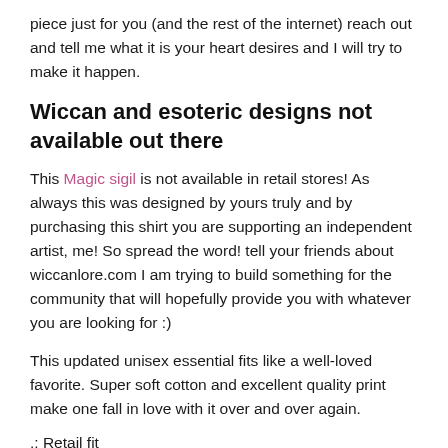piece just for you (and the rest of the internet) reach out and tell me what it is your heart desires and I will try to make it happen.
Wiccan and esoteric designs not available out there
This Magic sigil is not available in retail stores! As always this was designed by yours truly and by purchasing this shirt you are supporting an independent artist, me! So spread the word! tell your friends about wiccanlore.com I am trying to build something for the community that will hopefully provide you with whatever you are looking for :)
This updated unisex essential fits like a well-loved favorite. Super soft cotton and excellent quality print make one fall in love with it over and over again.
.: Retail fit
.: 100% Soft cotton (fiber content may vary for different colors)